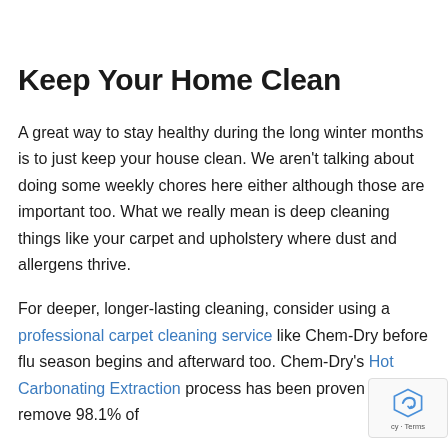Keep Your Home Clean
A great way to stay healthy during the long winter months is to just keep your house clean. We aren't talking about doing some weekly chores here either although those are important too. What we really mean is deep cleaning things like your carpet and upholstery where dust and allergens thrive.
For deeper, longer-lasting cleaning, consider using a professional carpet cleaning service like Chem-Dry before flu season begins and afterward too. Chem-Dry's Hot Carbonating Extraction process has been proven to remove 98.1% of